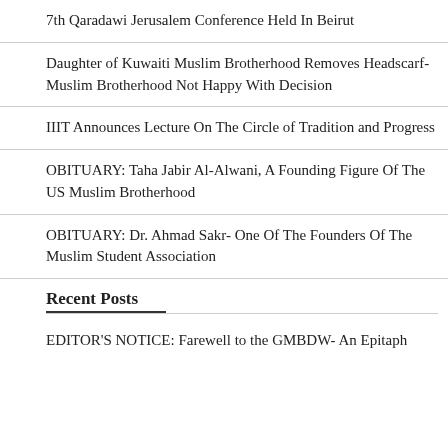7th Qaradawi Jerusalem Conference Held In Beirut
Daughter of Kuwaiti Muslim Brotherhood Removes Headscarf- Muslim Brotherhood Not Happy With Decision
IIIT Announces Lecture On The Circle of Tradition and Progress
OBITUARY: Taha Jabir Al-Alwani, A Founding Figure Of The US Muslim Brotherhood
OBITUARY: Dr. Ahmad Sakr- One Of The Founders Of The Muslim Student Association
Recent Posts
EDITOR'S NOTICE: Farewell to the GMBDW- An Epitaph